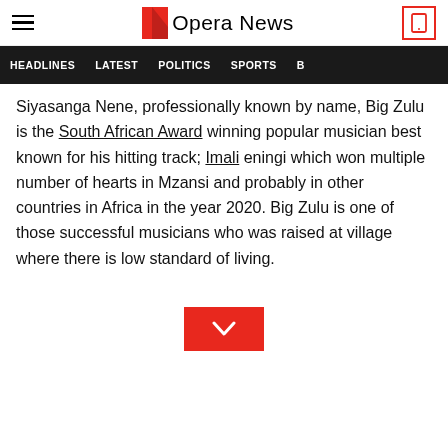Opera News
HEADLINES   LATEST   POLITICS   SPORTS
Siyasanga Nene, professionally known by name, Big Zulu is the South African Award winning popular musician best known for his hitting track; Imali eningi which won multiple number of hearts in Mzansi and probably in other countries in Africa in the year 2020. Big Zulu is one of those successful musicians who was raised at village where there is low standard of living.